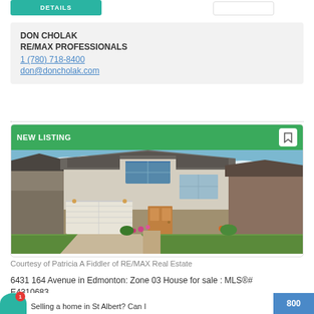DON CHOLAK
RE/MAX PROFESSIONALS
1 (780) 718-8400
don@doncholak.com
[Figure (photo): Exterior photo of a two-storey residential house with double garage, blue sky background, labeled NEW LISTING]
Courtesy of Patricia A Fiddler of RE/MAX Real Estate
6431 164 Avenue in Edmonton: Zone 03 House for sale : MLS®# E4310683
Selling a home in St Albert? Can I